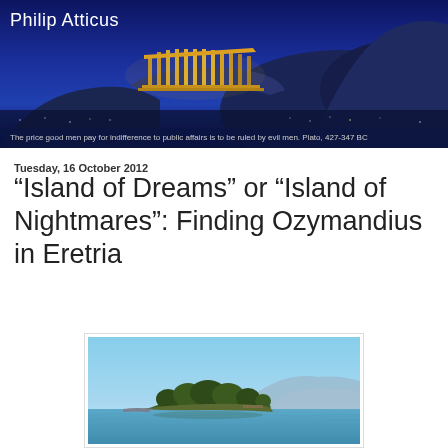Philip Atticus
The price good men pay for indifference to public affairs is to be ruled by evil men. Plato, 427-347 BC
Tuesday, 16 October 2012
“Island of Dreams” or “Island of Nightmares”: Finding Ozymandius in Eretria
[Figure (photo): Aerial or distant view of a small island with trees surrounded by calm blue water, with mountains in the background under a clear blue sky]